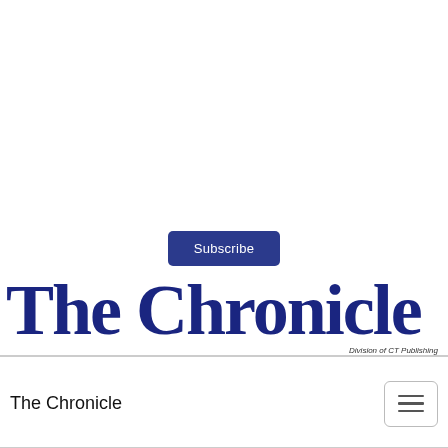[Figure (logo): Subscribe button (dark blue rounded rectangle with white text 'Subscribe') above The Chronicle newspaper masthead logo in blackletter style, dark navy blue, with 'Division of CT Publishing' in small italic text at bottom right]
The Chronicle
Division of CT Publishing